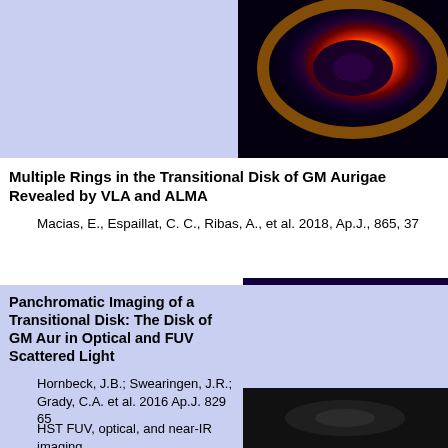[Figure (photo): Infrared image of a transitional disk showing concentric rings with a dark center, bright orange and yellow ring structure on a purple/black background]
Multiple Rings in the Transitional Disk of GM Aurigae Revealed by VLA and ALMA
Macias, E., Espaillat, C. C., Ribas, A., et al. 2018, Ap.J., 865, 37
[Figure (photo): Contour map image of a transitional disk showing elliptical contour lines in white/cyan over a blue-purple background with a bright yellow-green center]
Panchromatic Imaging of a Transitional Disk: The Disk of GM Aur in Optical and FUV Scattered Light
Hornbeck, J.B.; Swearingen, J.R.; Grady, C.A. et al. 2016 Ap.J. 829 65
HST FUV, optical, and near-IR imaging
[Figure (photo): Near-IR scattered light image of disk, dark grayscale image]